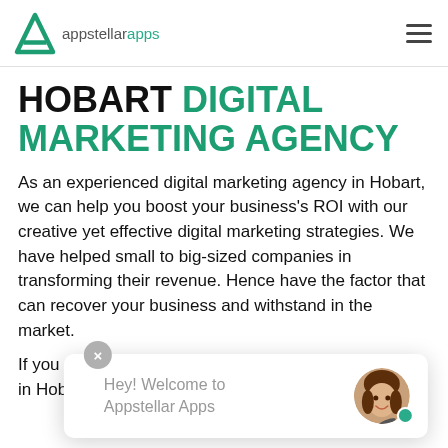[Figure (logo): AppStellarApps logo with green triangle/A icon and text 'appstellarapps']
HOBART DIGITAL MARKETING AGENCY
As an experienced digital marketing agency in Hobart, we can help you boost your business's ROI with our creative yet effective digital marketing strategies. We have helped small to big-sized companies in transforming their revenue. Hence have the factor that can recover your business and withstand in the market.
If you are looking a in Hobart, Australia, turn to Appstelarapps. We
[Figure (other): Chat widget overlay with close button (x), message 'Hey! Welcome to Appstellar Apps', and avatar photo of a smiling woman with green online dot]